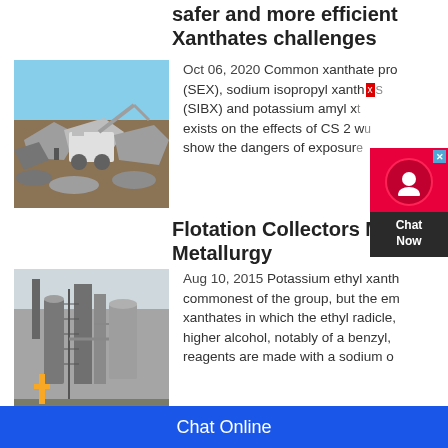safer and more efficient Xanthates challenges
[Figure (photo): Quarry excavation with heavy machinery and rock crusher in an open pit mine]
Oct 06, 2020 Common xanthate products (SEX), sodium isopropyl xanthate (SIBX) and potassium amyl xanthate. exists on the effects of CS 2 which show the dangers of exposure...
Flotation Collectors Min Metallurgy
[Figure (photo): Industrial mining or chemical processing plant with tall towers, silos, and scaffolding]
Aug 10, 2015 Potassium ethyl xanthate commonest of the group, but the em xanthates in which the ethyl radicle, higher alcohol, notably of a benzyl, reagents are made with a sodium o...
Chat Online